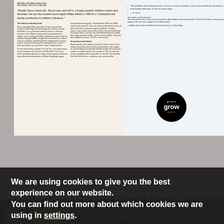[Figure (photo): Photograph of an open book showing two pages about Dr. Seuss, with a 'grace grow edits' circular logo overlaid on the right page.]
Theodor Seuss Geisel (Dr. Seuss) was, and still is, a hugely popular children's author and illustrator. He won the coveted Laura Ingalls Wilder Medal in 1980 for a "substantial and lasting contribution to children's literature."
The limited vocabulary book
Born in Springfield, Massachusetts, Dr. Seuss was heavily involved in publishing and advertising before, during, and after World War II, as an illustrator, political cartoonist, and movie animator. In the 1950s he concentrated on writing books for children, and a meeting with William Spaulding, a director with the publisher Houghton Mifflin, brought the issue of books in schools to Seuss's attention. Spaulding felt that reading books for young children were dull and boring. He challenged Seuss to write "a book that children can't put down," using a limited word list.
On the word list Seuss spotted "cat" and "hat." That simple rhyme was the inspiration for The Cat in the Hat (1957). The text he wrote rhymed throughout (it is really a very long poem) and Seuss kept well within the boundaries of William Spaulding's original more elaborate writing style. Throughout the 1950s and 1960s, under the pen name Dr. Seuss, he wrote and illustrated a series of books that remain immensely popular worldwide, including classics such as How I Hear a Who! (1955), How the Grinch Stole Christmas! (1957), One Fish Two Fish Red Fish Blue Fish (1960), Green Eggs and Ham (1960), and Fox in Socks (1965). They have been adapted as movies, TV series, and musicals.
Using rhyme and rhythm
Rhyming poetry, with repetition, became Dr. Seuss's forte. It was readily memorized and chanted by young children, who enjoyed its easy familiarity that repeated retellings brought. Seuss favored simple, one-syllable rhymes. For example, in The Cat in the Hat you find: play/day, tail/tail, and mother. In One Fish Two Fish Red Fish Blue Fish there are: similarities, and confusion. And
"The problem with writing a book in verse is, to be successful, it has to sound like you knocked it off on a rainy Friday afternoon. It has to sound easy."
— Dr. Seuss
[Figure (logo): Circular black logo with 'grace grow edits' text in gold and white cursive/bold fonts]
We are using cookies to give you the best experience on our website.
You can find out more about which cookies we are using in settings.
Introduction to Psychology from a Christian
Accept
622 Shares